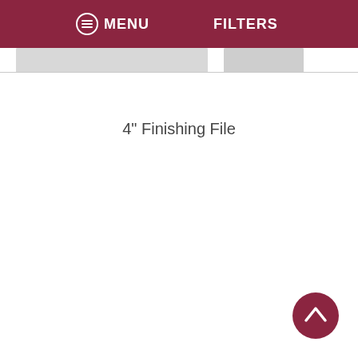MENU   FILTERS
4" Finishing File
[Figure (other): Scroll-to-top button (chevron up arrow inside a dark red circle) positioned at bottom-right of screen]